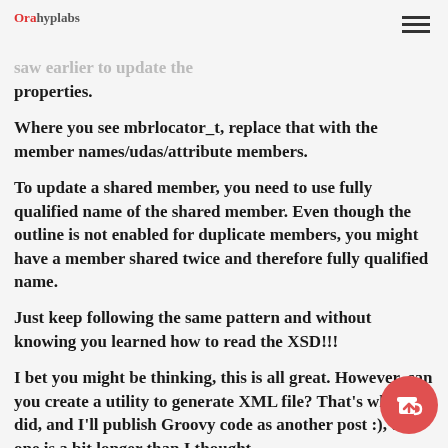Orahyplabs
You need first to tell which member you are updating using the thisMbr tag and then use mbrInfo element we saw earlier to update the properties.
Where you see mbrlocator_t, replace that with the member names/udas/attribute members.
To update a shared member, you need to use fully qualified name of the shared member. Even though the outline is not enabled for duplicate members, you might have a member shared twice and therefore fully qualified name.
Just keep following the same pattern and without knowing you learned how to read the XSD!!!
I bet you might be thinking, this is all great. However, can you create a utility to generate XML file? That's what I did, and I'll publish Groovy code as another post :), this one is a bit longer than I thought.